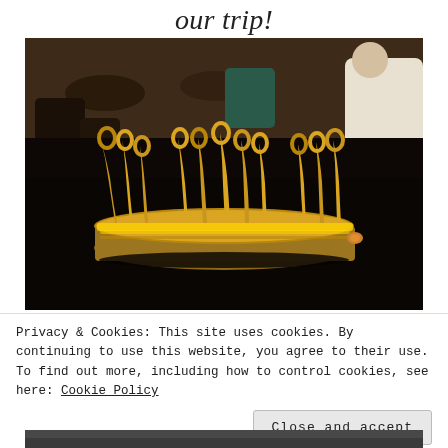our trip!
[Figure (photo): A gold ornate crown sitting on a dark restaurant table, with blurred restaurant chairs and people in the background]
Privacy & Cookies: This site uses cookies. By continuing to use this website, you agree to their use.
To find out more, including how to control cookies, see here: Cookie Policy
Close and accept
[Figure (photo): Bottom portion of another photo visible at the very bottom of the page]